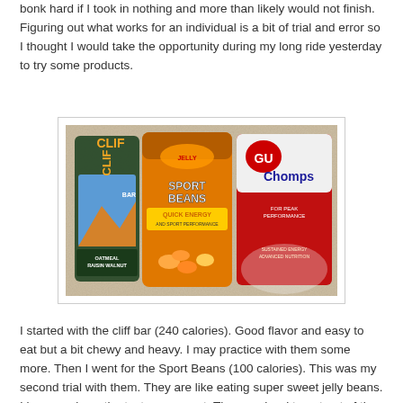bonk hard if I took in nothing and more than likely would not finish.  Figuring out what works for an individual is a bit of trial and error so I thought I would take the opportunity during my long ride yesterday to try some products.
[Figure (photo): Photo of three sports nutrition products on a granite countertop: a Clif Bar (Oatmeal Raisin Walnut), a bag of Jelly Belly Sport Beans (Quick Energy), and a packet of GU Chomps.]
I started with the cliff bar (240 calories).  Good flavor and easy to eat but a bit chewy and heavy.  I may practice with them some more.  Then I went for the Sport Beans (100 calories).  This was my second trial with them.  They are like eating super sweet jelly beans.  I love candy so the taste was great.  They are hard to get out of the package at